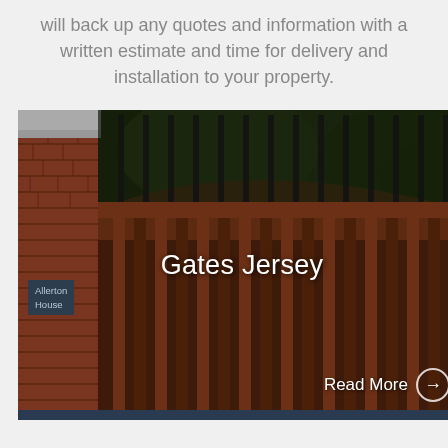will back up any quotes and information with a written estimate and time for delivery and installation to your property.
[Figure (photo): A large wooden driveway gate with vertical timber planks and an arched top rail, mounted next to a red brick pillar. A dark sign reading 'Allerton House' is attached to the pillar. Lush green trees are visible in the background through the lattice of the gate. The gate has a dark brown stain.]
Gates Jersey
Read More →